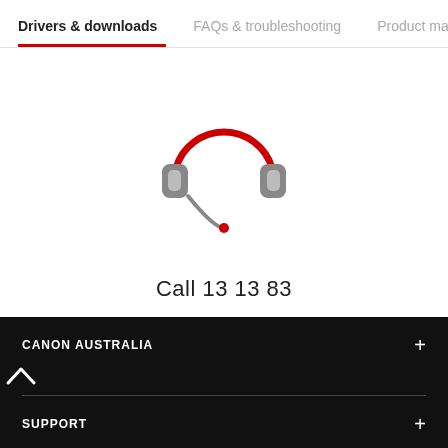Drivers & downloads  FAQs & troubleshooting  Product manuals
[Figure (illustration): Headset icon with red arc headband and gray ear cups, with a gray microphone arm ending in a red dot]
Call 13 13 83
CANON AUSTRALIA
SUPPORT